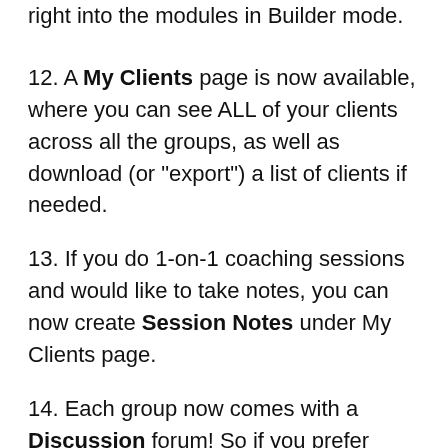right into the modules in Builder mode.
12. A My Clients page is now available, where you can see ALL of your clients across all the groups, as well as download (or “export”) a list of clients if needed.
13. If you do 1-on-1 coaching sessions and would like to take notes, you can now create Session Notes under My Clients page.
14. Each group now comes with a Discussion forum! So if you prefer keeping your conversations inside